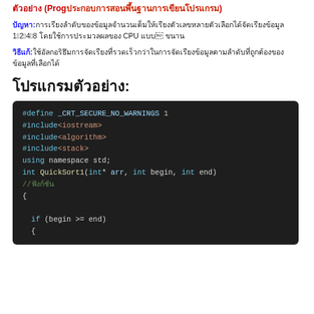ตัวอย่าง (Prog...)
ปัญหา: การเรียงลำดับแบบหลายตัวเลือก จัดเรียงข้อมูล 1,2,4,8 โดยใช้ CPU ประมวลผล
วิธีแก้: ใช้อัลกอริธึมการจัดเรียงที่รวดเร็ว เพื่อจัดเรียงข้อมูลตามลำดับ
โปรแกรมตัวอย่าง:
[Figure (screenshot): Code block showing C++ QuickSort implementation with syntax highlighting on dark background. Code includes #define _CRT_SECURE_NO_WARNINGS 1, #include<iostream>, #include<algorithm>, #include<stack>, using namespace std;, int QuickSort1(int* arr, int begin, int end), //ฟังก์ชัน, {, if (begin >= end), {]